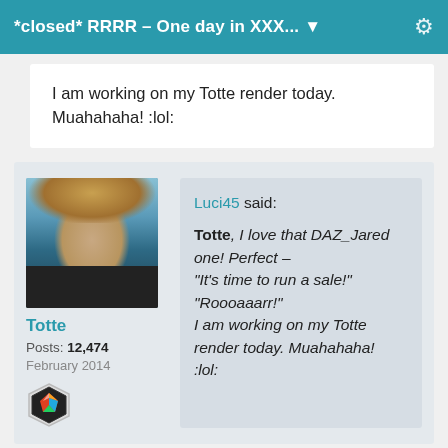*closed* RRRR – One day in XXX... ▼
I am working on my Totte render today. Muahahaha! :lol:
Luci45 said:

Totte, I love that DAZ_Jared one! Perfect – "It's time to run a sale!" "Roooaaarr!" I am working on my Totte render today. Muahahaha! :lol: